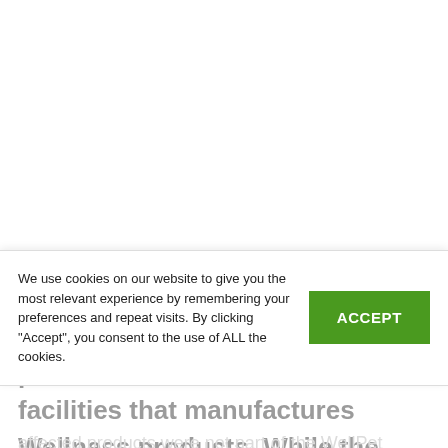2017
In February, a small amount of metal was found in products made in one of the facilities that manufactures Wellness products. While the affected products were not part of the WellPet family, the company decided to take the
We use cookies on our website to give you the most relevant experience by remembering your preferences and repeat visits. By clicking "Accept", you consent to the use of ALL the cookies.
ACCEPT